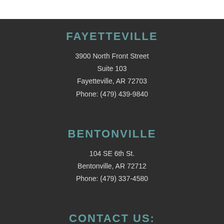FAYETTEVILLE
3900 North Front Street
Suite 103
Fayetteville, AR 72703
Phone: (479) 439-9840
BENTONVILLE
104 SE 6th St.
Bentonville, AR 72712
Phone: (479) 337-4580
CONTACT US:
Main Intake: